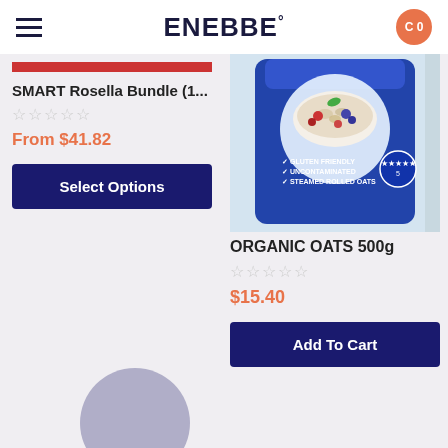ENEBBE°
SMART Rosella Bundle (1...
From $41.82
Select Options
[Figure (photo): Photo of ORGANIC OATS 500g blue bag with bowl of oats and berries on top]
ORGANIC OATS 500g
$15.40
Add To Cart